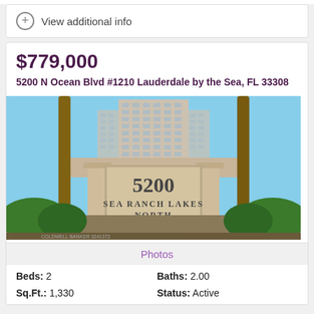View additional info
$779,000
5200 N Ocean Blvd #1210 Lauderdale by the Sea, FL 33308
[Figure (photo): Exterior photo showing the entrance sign reading '5200 SEA RANCH LAKES NORTH' with a high-rise building in the background, palm trees, and green shrubs]
Photos
Beds: 2   Baths: 2.00
Sq.Ft.: 1,330   Status: Active